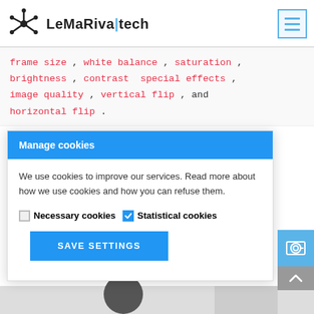LeMaRiva|tech
frame size , white balance , saturation , brightness , contrast  special effects , image quality , vertical flip , and horizontal flip .
Manage cookies
We use cookies to improve our services. Read more about how we use cookies and how you can refuse them.
Necessary cookies  Statistical cookies
SAVE SETTINGS